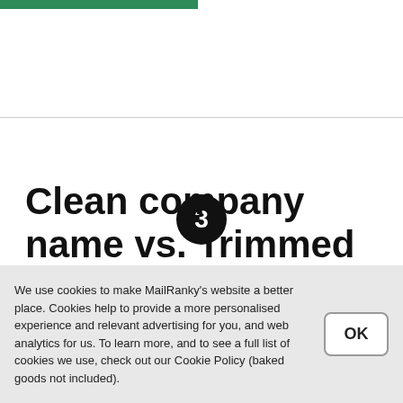3
Clean company name vs. Trimmed Company name
We use cookies to make MailRanky's website a better place. Cookies help to provide a more personalised experience and relevant advertising for you, and web analytics for us. To learn more, and to see a full list of cookies we use, check out our Cookie Policy (baked goods not included).